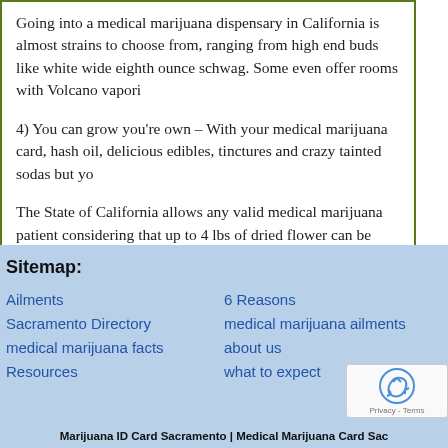Going into a medical marijuana dispensary in California is almost strains to choose from, ranging from high end buds like white wide eighth ounce schwag. Some even offer rooms with Volcano vapori
4) You can grow you’re own – With your medical marijuana card, hash oil, delicious edibles, tinctures and crazy tainted sodas but yo
The State of California allows any valid medical marijuana patient considering that up to 4 lbs of dried flower can be harvested from a
Growing your own medical cannabis is not only fun, but also a go
Sitemap:
Ailments
Sacramento Directory
medical marijuana facts
Resources
6 Reasons
medical marijuana ailments
about us
what to expect
Marijuana ID Card Sacramento | Medical Marijuana Card Sac